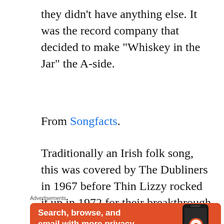they didn't have anything else. It was the record company that decided to make “Whiskey in the Jar” the A-side.
From Songfacts.
Traditionally an Irish folk song, this was covered by The Dubliners in 1967 before Thin Lizzy rocked it up in 1972 for their breakthrough hit. >>
[Figure (other): Advertisement for DuckDuckGo browser app on orange background with phone illustration. Text reads: Search, browse, and email with more privacy. All in One Free App]